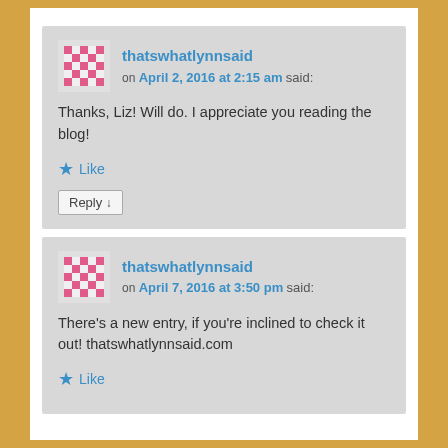thatswhatlynnsaid on April 2, 2016 at 2:15 am said: Thanks, Liz! Will do. I appreciate you reading the blog! Like Reply
thatswhatlynnsaid on April 7, 2016 at 3:50 pm said: There's a new entry, if you're inclined to check it out! thatswhatlynnsaid.com Like